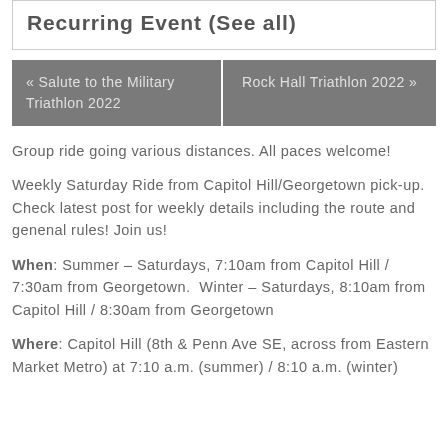Recurring Event (See all)
« Salute to the Military Triathlon 2022
Rock Hall Triathlon 2022 »
Group ride going various distances. All paces welcome!
Weekly Saturday Ride from Capitol Hill/Georgetown pick-up. Check latest post for weekly details including the route and genenal rules! Join us!
When: Summer – Saturdays, 7:10am from Capitol Hill / 7:30am from Georgetown.  Winter – Saturdays, 8:10am from Capitol Hill / 8:30am from Georgetown
Where: Capitol Hill (8th & Penn Ave SE, across from Eastern Market Metro) at 7:10 a.m. (summer) / 8:10 a.m. (winter)